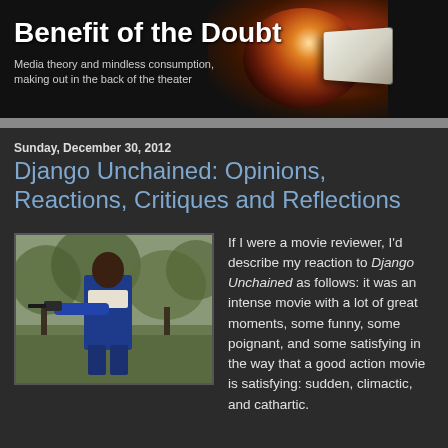Benefit of the Doubt
Media theory and mindless consumption, making out in the back of the theater
Sunday, December 30, 2012
Django Unchained: Opinions, Reactions, Critiques and Reflections
[Figure (photo): Movie still from Django Unchained showing a man in a blue outfit pointing a gun toward the camera, outdoors with trees in background]
If I were a movie reviewer, I'd describe my reaction to Django Unchained as follows: it was an intense movie with a lot of great moments, some funny, some poignant, and some satisfying in the way that a good action movie is satisfying: sudden, climactic, and cathartic.